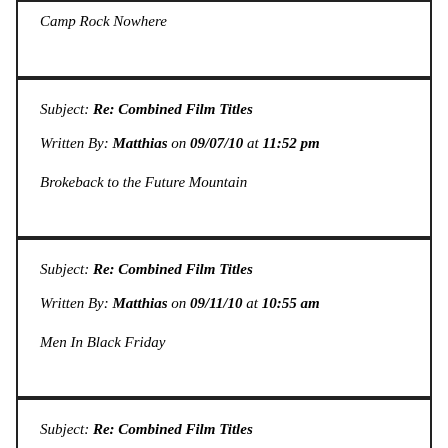Camp Rock Nowhere
Subject: Re: Combined Film Titles
Written By: Matthias on 09/07/10 at 11:52 pm
Brokeback to the Future Mountain
Subject: Re: Combined Film Titles
Written By: Matthias on 09/11/10 at 10:55 am
Men In Black Friday
Subject: Re: Combined Film Titles
Written By: Philip Eno on 09/12/10 at 5:27 am